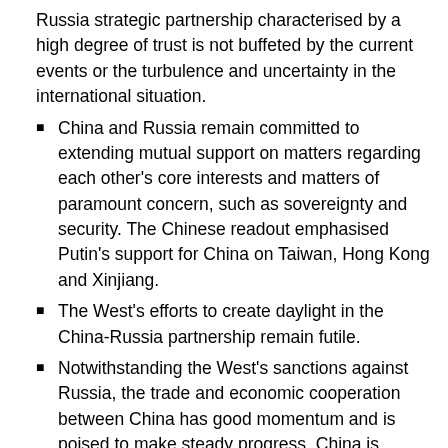Russia strategic partnership characterised by a high degree of trust is not buffeted by the current events or the turbulence and uncertainty in the international situation.
China and Russia remain committed to extending mutual support on matters regarding each other's core interests and matters of paramount concern, such as sovereignty and security. The Chinese readout emphasised Putin's support for China on Taiwan, Hong Kong and Xinjiang.
The West's efforts to create daylight in the China-Russia partnership remain futile.
Notwithstanding the West's sanctions against Russia, the trade and economic cooperation between China has good momentum and is poised to make steady progress. China is willing to push for the steady and long-term development of practical